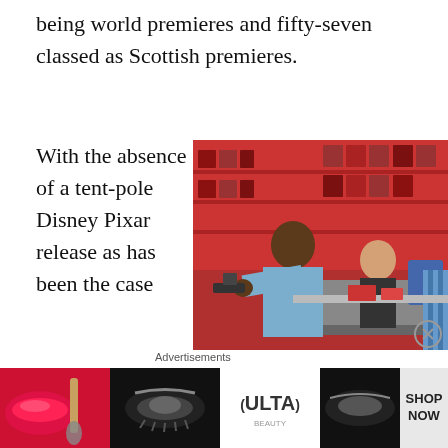being world premieres and fifty-seven classed as Scottish premieres.
With the absence of a tent-pole Disney Pixar release as has been the case with Edinburgh (Brave and Monsters University have closed in recent times), there is a distinct lack of
[Figure (photo): A person pointing a gun at the camera in what appears to be a convenience store or shop setting, with shelves of products visible in the background and another person standing behind a counter.]
Advertisements
[Figure (photo): Ulta Beauty advertisement banner showing makeup and beauty products with SHOP NOW text]